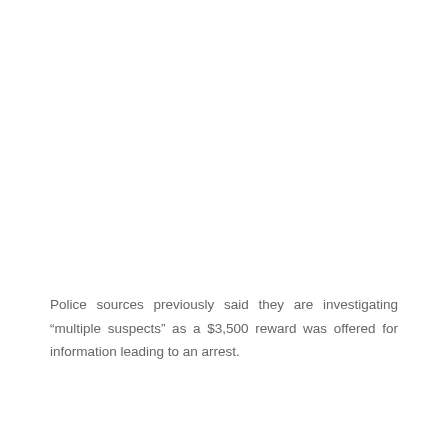Police sources previously said they are investigating “multiple suspects” as a $3,500 reward was offered for information leading to an arrest.